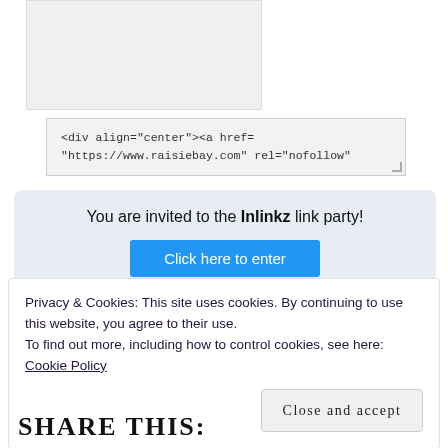[Figure (other): Light gray image placeholder rectangle]
<div align="center"><a href=
"https://www.raisiebay.com" rel="nofollow"
You are invited to the Inlinkz link party!
Click here to enter
Privacy & Cookies: This site uses cookies. By continuing to use this website, you agree to their use.
To find out more, including how to control cookies, see here: Cookie Policy
Close and accept
SHARE THIS: